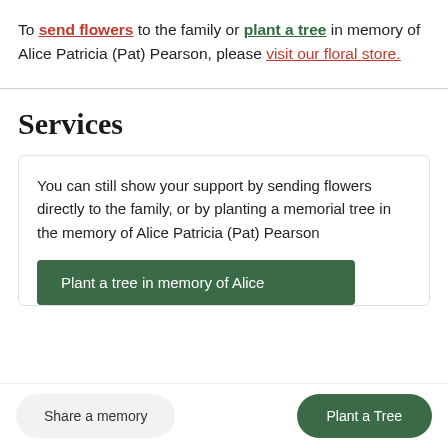To send flowers to the family or plant a tree in memory of Alice Patricia (Pat) Pearson, please visit our floral store.
Services
You can still show your support by sending flowers directly to the family, or by planting a memorial tree in the memory of Alice Patricia (Pat) Pearson
Plant a tree in memory of Alice
Share a memory
Plant a Tree